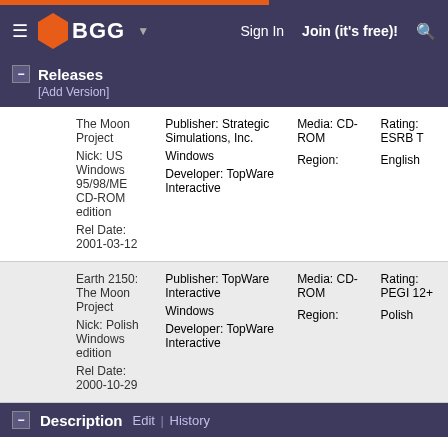BGG — Sign In  Join (it's free)!
Releases [Add Version]
|  | Name/Nick/RelDate | Publisher/OS/Developer | Media/Region | Rating/Language |
| --- | --- | --- | --- | --- |
|  | The Moon Project
Nick: US Windows 95/98/ME CD-ROM edition
Rel Date: 2001-03-12 | Publisher: Strategic Simulations, Inc.
Windows
Developer: TopWare Interactive | Media: CD-ROM
Region: | Rating: ESRB T
English |
|  | Earth 2150: The Moon Project
Nick: Polish Windows edition
Rel Date: 2000-10-29 | Publisher: TopWare Interactive
Windows
Developer: TopWare Interactive | Media: CD-ROM
Region: | Rating: PEGI 12+
Polish |
Description  Edit | History